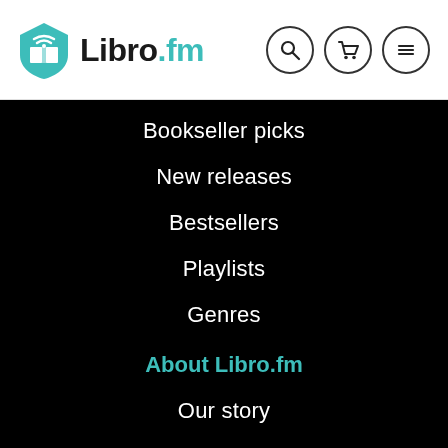Libro.fm
Bookseller picks
New releases
Bestsellers
Playlists
Genres
About Libro.fm
Our story
Bookstore Finder
Press
Blog